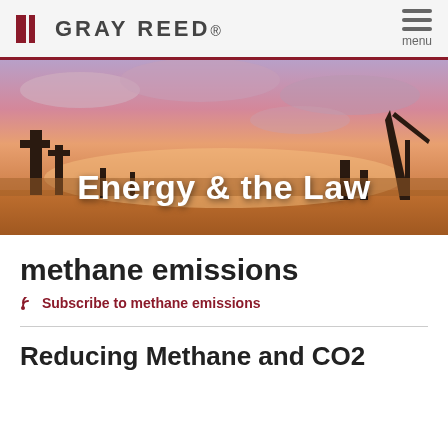GRAY REED. menu
[Figure (photo): Banner photo of oil field/industrial site at dramatic pink/purple sunset sky with silhouetted cranes and structures. Title text 'Energy & the Law' overlaid in white.]
methane emissions
Subscribe to methane emissions
Reducing Methane and CO2